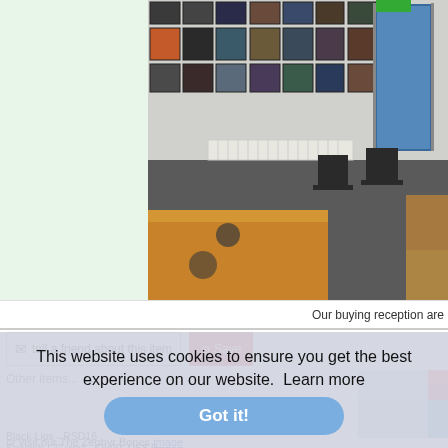[Figure (photo): Interior of a record/music shop buying reception area with framed artwork on walls, chairs, a radiator, wooden desk, and a blue door]
Our buying reception are
tell a friend about this item
Save
Other items...
[Figure (photo): Black Lips RSD16 Spanish 7 inch vinyl product thumbnail]
Black Lips - RSD16
Spanish / 7" vinyl - £8.00, US$ 9.
This website uses cookies to ensure you get the best experience on our website.  Learn more
Got it!
or visit our The Zephyr Bones image